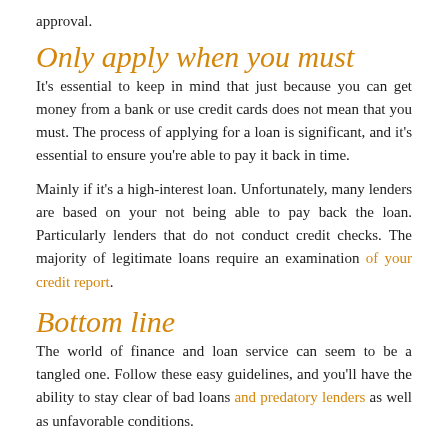approval.
Only apply when you must
It's essential to keep in mind that just because you can get money from a bank or use credit cards does not mean that you must. The process of applying for a loan is significant, and it's essential to ensure you're able to pay it back in time.
Mainly if it's a high-interest loan. Unfortunately, many lenders are based on your not being able to pay back the loan. Particularly lenders that do not conduct credit checks. The majority of legitimate loans require an examination of your credit report.
Bottom line
The world of finance and loan service can seem to be a tangled one. Follow these easy guidelines, and you'll have the ability to stay clear of bad loans and predatory lenders as well as unfavorable conditions.